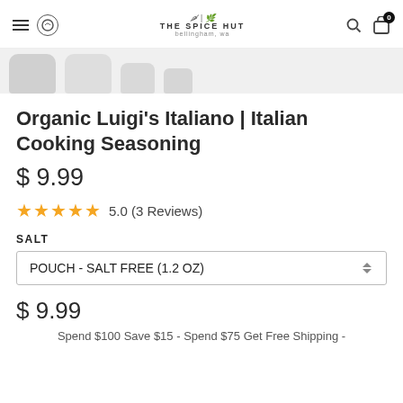THE SPICE HUT bellingham, wa
[Figure (photo): Partial view of product jar thumbnails in a horizontal strip at top of page]
Organic Luigi's Italiano | Italian Cooking Seasoning
$ 9.99
5.0 (3 Reviews)
SALT
POUCH - SALT FREE (1.2 OZ)
$ 9.99
Spend $100 Save $15 - Spend $75 Get Free Shipping -